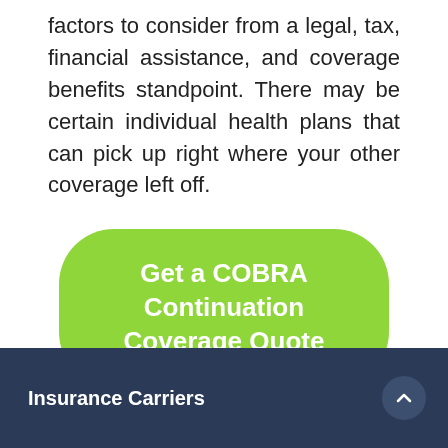factors to consider from a legal, tax, financial assistance, and coverage benefits standpoint. There may be certain individual health plans that can pick up right where your other coverage left off.
[Figure (other): Green rounded rectangle button with white bold text reading 'Get a COBRA Continuation Coverage Quote']
Insurance Carriers